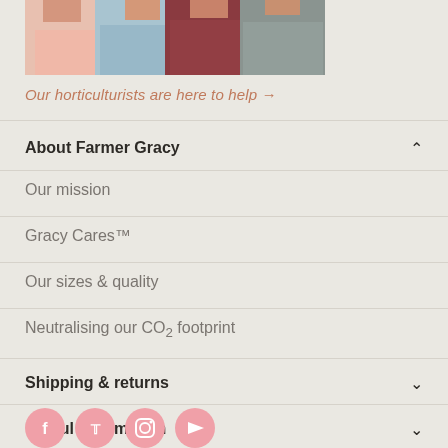[Figure (photo): Partial photo of group of people standing together, showing torsos/lower bodies cropped at top]
Our horticulturists are here to help →
About Farmer Gracy
Our mission
Gracy Cares™
Our sizes & quality
Neutralising our CO₂ footprint
Shipping & returns
Useful information
[Figure (illustration): Row of pink circular social media icons: Facebook, Twitter, Instagram, YouTube]